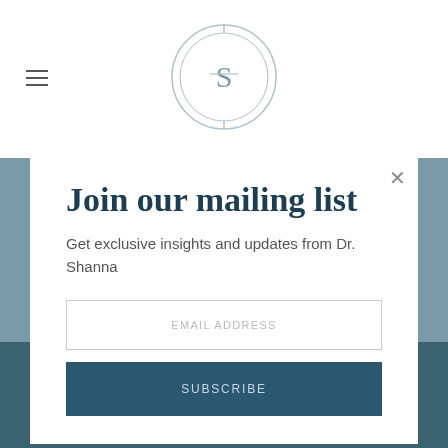[Figure (logo): Circular logo with stylized 'S' or 'ST' monogram inside concentric circles]
Join our mailing list
Get exclusive insights and updates from Dr. Shanna
EMAIL ADDRESS
SUBSCRIBE
THE VALUE OF SLEEP
What Value Do You Put On Sleep? Healthy, high-achieving leaders must redefine their relationship with sleep to ensure the